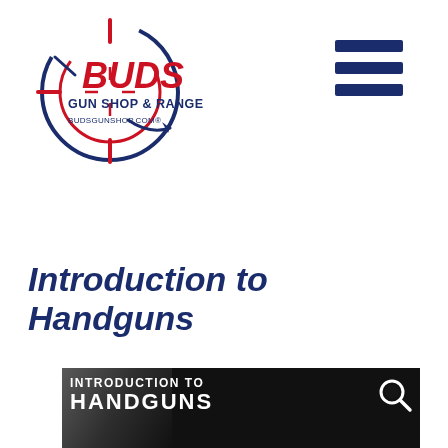[Figure (logo): Buds Gun Shop & Range logo with crosshair/scope circle in red and blue, text BUDS in red, GUN SHOP & RANGE in dark blue, BUDSGUNSHOP.COM in smaller text]
[Figure (other): Hamburger menu icon with three horizontal dark blue bars]
Introduction to Handguns
[Figure (photo): Dark banner image with white bold text reading INTRODUCTION TO HANDGUNS with a search/magnifying glass icon overlay, and a face visible in dark background on the left]